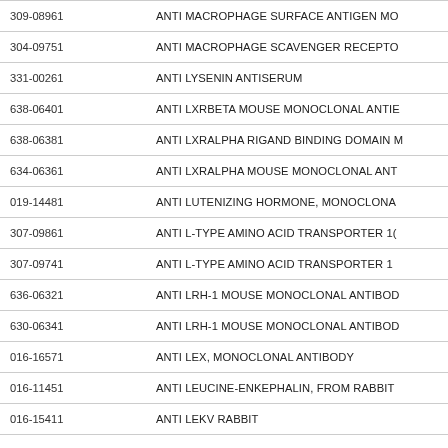| Code | Description |
| --- | --- |
| 309-08961 | ANTI MACROPHAGE SURFACE ANTIGEN MO |
| 304-09751 | ANTI MACROPHAGE SCAVENGER RECEPTO |
| 331-00261 | ANTI LYSENIN ANTISERUM |
| 638-06401 | ANTI LXRBETA MOUSE MONOCLONAL ANTIE |
| 638-06381 | ANTI LXRALPHA RIGAND BINDING DOMAIN M |
| 634-06361 | ANTI LXRALPHA MOUSE MONOCLONAL ANT |
| 019-14481 | ANTI LUTENIZING HORMONE, MONOCLONA |
| 307-09861 | ANTI L-TYPE AMINO ACID TRANSPORTER 1( |
| 307-09741 | ANTI L-TYPE AMINO ACID TRANSPORTER 1 |
| 636-06321 | ANTI LRH-1 MOUSE MONOCLONAL ANTIBOD |
| 630-06341 | ANTI LRH-1 MOUSE MONOCLONAL ANTIBOD |
| 016-16571 | ANTI LEX, MONOCLONAL ANTIBODY |
| 016-11451 | ANTI LEUCINE-ENKEPHALIN, FROM RABBIT |
| 016-15411 | ANTI LEKV RABBIT |